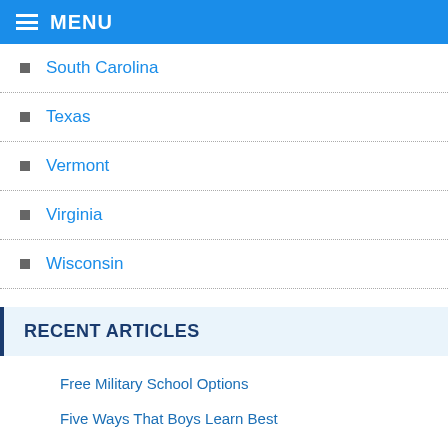MENU
South Carolina
Texas
Vermont
Virginia
Wisconsin
RECENT ARTICLES
Free Military School Options
Five Ways That Boys Learn Best
Unique Features of Military Schools
Choosing a Military School